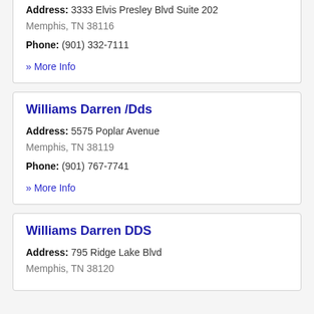Address: 3333 Elvis Presley Blvd Suite 202
Memphis, TN 38116
Phone: (901) 332-7111
» More Info
Williams Darren /Dds
Address: 5575 Poplar Avenue
Memphis, TN 38119
Phone: (901) 767-7741
» More Info
Williams Darren DDS
Address: 795 Ridge Lake Blvd
Memphis, TN 38120